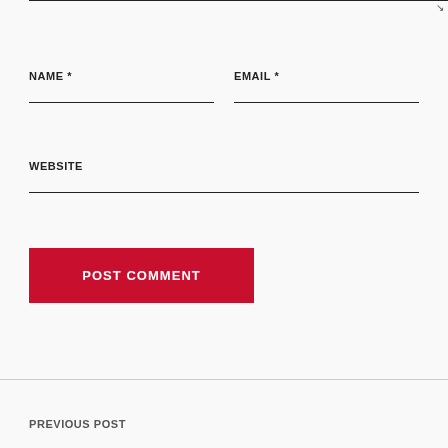[Figure (screenshot): Comment form textarea field at top with resize handle]
NAME *
EMAIL *
WEBSITE
POST COMMENT
PREVIOUS POST